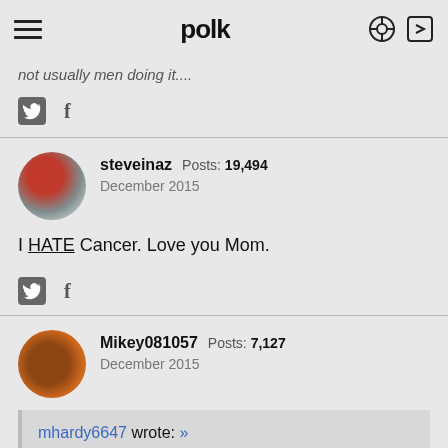polk
not usually men doing it....
Twitter share icon, Facebook share icon
steveinaz   Posts: 19,494
December 2015
I HATE Cancer. Love you Mom.
Twitter share icon, Facebook share icon
Mikey081057   Posts: 7,127
December 2015
mhardy6647 wrote: »
show previous quotes